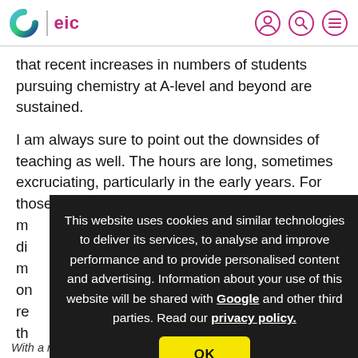eic
that recent increases in numbers of students pursuing chemistry at A-level and beyond are sustained.
I am always sure to point out the downsides of teaching as well. The hours are long, sometimes excruciating, particularly in the early years. For those working at secondary level, m... di... m... on... re... nd th... an... wi...
This website uses cookies and similar technologies to deliver its services, to analyse and improve performance and to provide personalised content and advertising. Information about your use of this website will be shared with Google and other third parties. Read our privacy policy.
OK
With a risky revolution underway in teacher training, it is vital